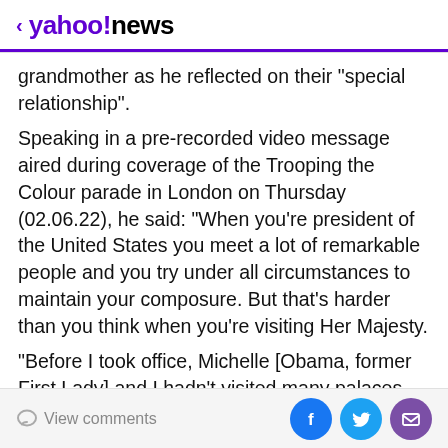< yahoo!news
grandmother as he reflected on their "special relationship".
Speaking in a pre-recorded video message aired during coverage of the Trooping the Colour parade in London on Thursday (02.06.22), he said: "When you're president of the United States you meet a lot of remarkable people and you try under all circumstances to maintain your composure. But that's harder than you think when you're visiting Her Majesty.
"Before I took office, Michelle [Obama, former First Lady] and I hadn't visited many palaces, so we weren't sure what to expect on our first trip to Buckingham, but we shouldn't have been worried.
View comments